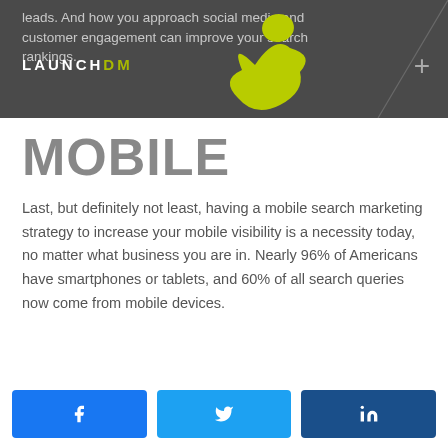leads. And how you approach social media and customer engagement can improve your search rankings.
MOBILE
Last, but definitely not least, having a mobile search marketing strategy to increase your mobile visibility is a necessity today, no matter what business you are in. Nearly 96% of Americans have smartphones or tablets, and 60% of all search queries now come from mobile devices.